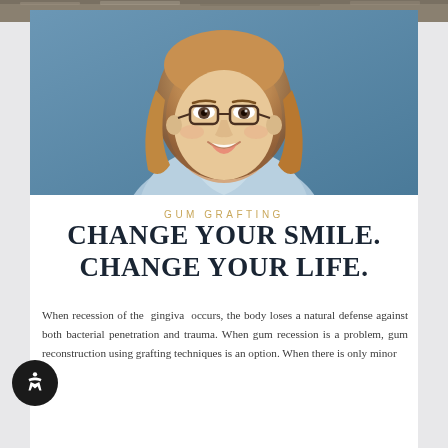[Figure (photo): A smiling middle-aged woman with blonde wavy hair and glasses, wearing a light blue denim shirt, posed against a blue background.]
GUM GRAFTING
CHANGE YOUR SMILE. CHANGE YOUR LIFE.
When recession of the gingiva occurs, the body loses a natural defense against both bacterial penetration and trauma. When gum recession is a problem, gum reconstruction using grafting techniques is an option. When there is only minor